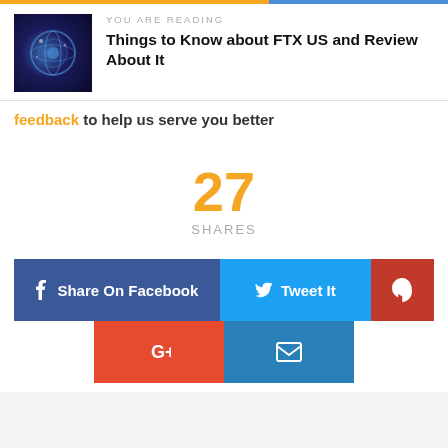YOU ARE READING
Things to Know about FTX US and Review About It
feedback to help us serve you better
27 SHARES
[Figure (screenshot): Social share buttons: Share On Facebook, Tweet It, Pinterest, Google+, Email]
[Figure (photo): Thumbnail image with blue space/globe theme for article about FTX US]